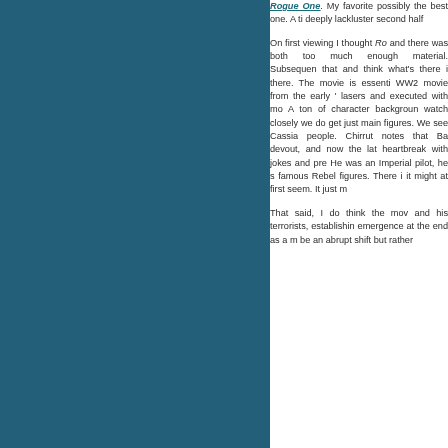[Figure (illustration): Solid dark teal/blue rectangular panel occupying the left portion of the page]
Rogue One. My favorite possibly the best one. A ti deeply lackluster second half On first viewing I thought Ro and there was both too much enough material. Subsequen that and think what's there i there. The movie is essenti WW2 movie from the early ' lasers and executed with mo A ton of character backgroun watch closely we do get just main figures. We see Cassia people. Chirrut notes that Ba devout, and now the lat heartbreak with jokes and pre He was an Imperial pilot, he s famous Rebel figures. There i it might at first seem. It just m That said, I do think the mov and his terrorists, establishin emergence at the end as a m be an abrupt shift but rather